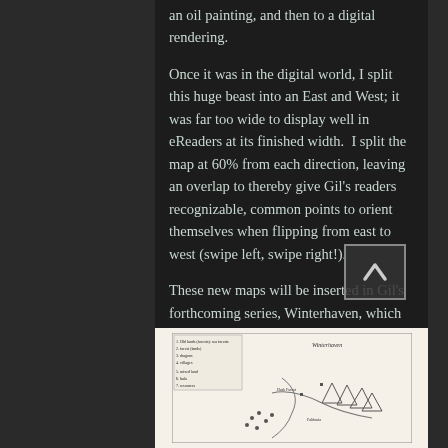an oil painting, and then to a digital rendering.
Once it was in the digital world, I split this huge beast into an East and West; it was far too wide to display well in eReaders at its finished width.  I split the map at 60% from each direction, leaving an overlap to thereby give Gil's readers recognizable, common points to orient themselves when flipping from east to west (swipe left, swipe right!).
These new maps will be inserted in Gil's forthcoming series, Winterhaven, which has a February 7th release date on Amazon.
[Figure (map): A hand-drawn fantasy map showing terrain with mountains, rivers, and labeled locations in black and white on light background.]